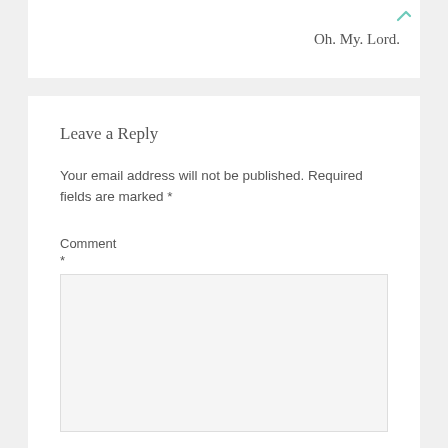Oh. My. Lord.
Leave a Reply
Your email address will not be published. Required fields are marked *
Comment
*